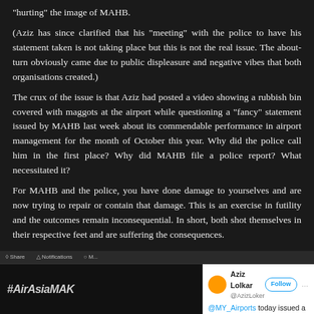“hurting” the image of MAHB.
(Aziz has since clarified that his “meeting” with the police to have his statement taken is not taking place but this is not the real issue. The about-turn obviously came due to public displeasure and negative vibes that both organisations created.)
The crux of the issue is that Aziz had posted a video showing a rubbish bin covered with maggots at the airport while questioning a “fancy” statement issued by MAHB last week about its commendable performance in airport management for the month of October this year. Why did the police call him in the first place? Why did MAHB file a police report? What necessitated it?
For MAHB and the police, you have done damage to yourselves and are now trying to repair or contain that damage. This is an exercise in futility and the outcomes remain inconsequential. In short, both shot themselves in their respective feet and are suffering the consequences.
[Figure (screenshot): Screenshot of a tweet by Aziz Lolkar (@AzizLoker) with a Follow button, mentioning @MY_Airports today issued a fancy statement saying KLIA & #klia2 had exceeded the service quality targets of. On the left side is a dark image with #AirAsiaMAK... text visible.]